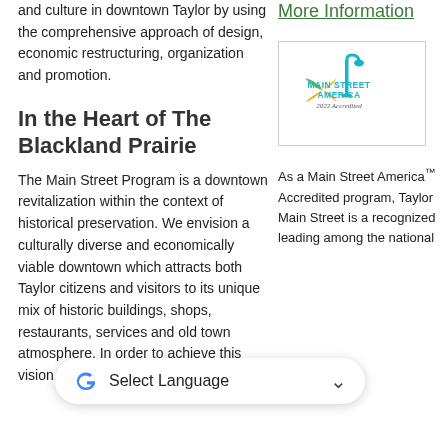and culture in downtown Taylor by using the comprehensive approach of design, economic restructuring, organization and promotion.
[Figure (other): More Information link (green underlined text)]
[Figure (logo): Main Street America 2022 Accredited badge logo in a bordered box]
In the Heart of The Blackland Prairie
The Main Street Program is a downtown revitalization within the context of historical preservation. We envision a culturally diverse and economically viable downtown which attracts both Taylor citizens and visitors to its unique mix of historic buildings, shops, restaurants, services and old town atmosphere. In order to achieve this vision, the Main
As a Main Street America™ Accredited program, Taylor Main Street is a recognized leading among the national
[Figure (other): Google Translate language selector bar at bottom of page]